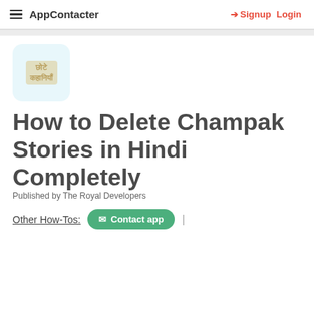AppContacter   Signup   Login
[Figure (logo): App icon for Champak Stories in Hindi — light blue rounded square with Hindi text in golden/tan color]
How to Delete Champak Stories in Hindi Completely
Published by The Royal Developers
Other How-Tos:   Contact app   |